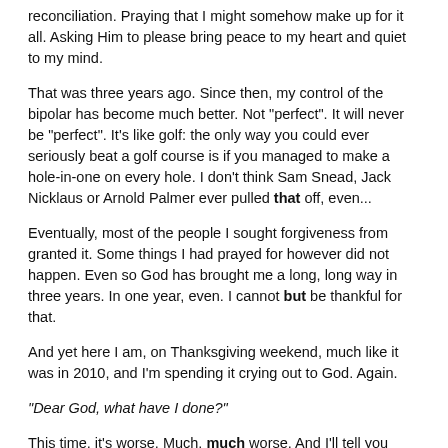reconciliation. Praying that I might somehow make up for it all. Asking Him to please bring peace to my heart and quiet to my mind.
That was three years ago. Since then, my control of the bipolar has become much better. Not "perfect". It will never be "perfect". It's like golf: the only way you could ever seriously beat a golf course is if you managed to make a hole-in-one on every hole. I don't think Sam Snead, Jack Nicklaus or Arnold Palmer ever pulled that off, even...
Eventually, most of the people I sought forgiveness from granted it. Some things I had prayed for however did not happen. Even so God has brought me a long, long way in three years. In one year, even. I cannot but be thankful for that.
And yet here I am, on Thanksgiving weekend, much like it was in 2010, and I'm spending it crying out to God. Again.
"Dear God, what have I done?"
This time, it's worse. Much, much worse. And I'll tell you why...
I have come to a place where I see how bipolar clouded and distorted my sympathy toward others. That it made me fail to see how my actions in my life, my life, that they were actually hurtful